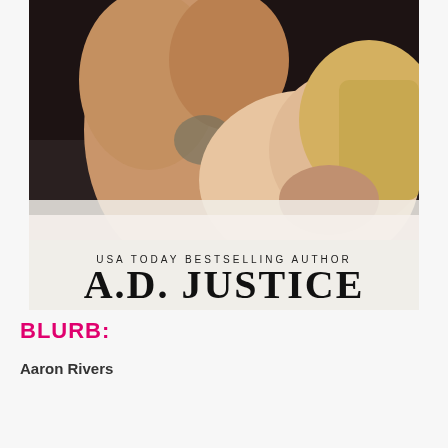[Figure (photo): Book cover showing an intimate couple embracing on white sheets, with tattoos visible on the man. The lower portion of the cover shows white/light background with text: 'USA TODAY BESTSELLING AUTHOR' and 'A.D. JUSTICE' in large serif font.]
BLURB:
Aaron Rivers